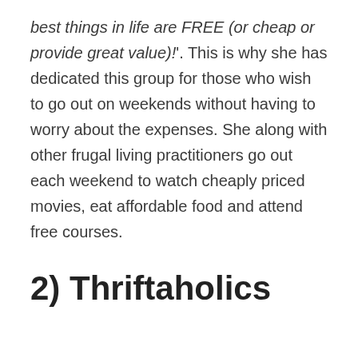best things in life are FREE (or cheap or provide great value)!'. This is why she has dedicated this group for those who wish to go out on weekends without having to worry about the expenses. She along with other frugal living practitioners go out each weekend to watch cheaply priced movies, eat affordable food and attend free courses.
2) Thriftaholics